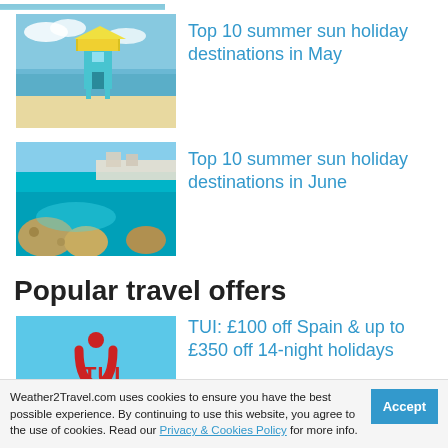[Figure (photo): Partial top strip of a beach/ocean photo, cropped at top of page]
[Figure (photo): Beach lifeguard tower in Miami Beach style, blue sky and sandy beach]
Top 10 summer sun holiday destinations in May
[Figure (photo): Turquoise Mediterranean coastline with rocky shores and clear water]
Top 10 summer sun holiday destinations in June
Popular travel offers
[Figure (logo): TUI logo on light blue background]
TUI: £100 off Spain & up to £350 off 14-night holidays
Weather2Travel.com uses cookies to ensure you have the best possible experience. By continuing to use this website, you agree to the use of cookies. Read our Privacy & Cookies Policy for more info.